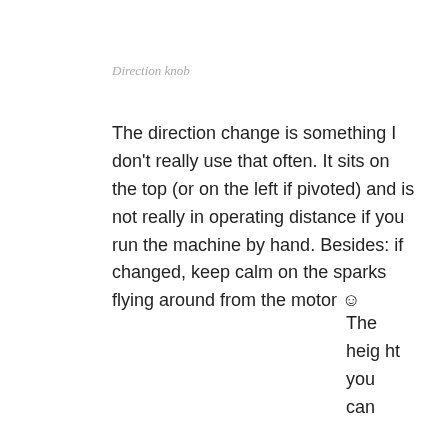Direction knob
The direction change is something I don't really use that often. It sits on the top (or on the left if pivoted) and is not really in operating distance if you run the machine by hand. Besides: if changed, keep calm on the sparks flying around from the motor ☺
The height you can